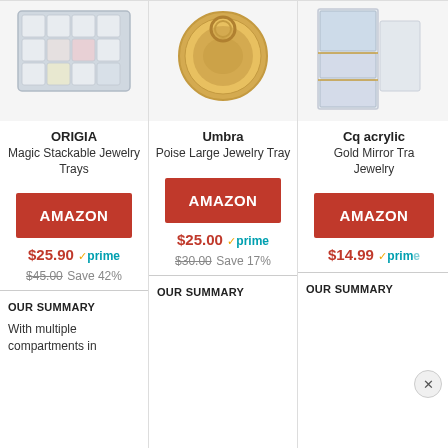[Figure (photo): ORIGIA jewelry tray product image showing compartmented tray]
ORIGIA
Magic Stackable Jewelry Trays
AMAZON
$25.90 prime
$45.00 Save 42%
[Figure (photo): Umbra gold round jewelry tray product image]
Umbra
Poise Large Jewelry Tray
AMAZON
$25.00 prime
$30.00 Save 17%
[Figure (photo): Cq acrylic gold mirror tray jewelry organizer product image]
Cq acrylic
Gold Mirror Tra... Jewelry
AMAZON
$14.99 prime
OUR SUMMARY
With multiple compartments in
OUR SUMMARY
OUR SUMMARY